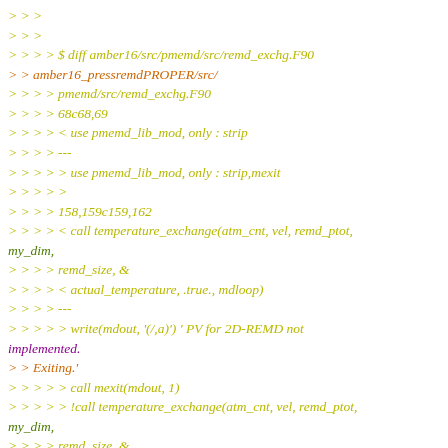>>>
>>>
>>>> $ diff amber16/src/pmemd/src/remd_exchg.F90
>> amber16_pressremdPROPER/src/
>>>> pmemd/src/remd_exchg.F90
>>>> 68c68,69
>>>> < use pmemd_lib_mod, only : strip
>>>> ---
>>>> > use pmemd_lib_mod, only : strip,mexit
>>>> >
>>>> 158,159c159,162
>>>> < call temperature_exchange(atm_cnt, vel, remd_ptot, my_dim,
>>>> remd_size, &
>>>> < actual_temperature, .true., mdloop)
>>>> ---
>>>> > write(mdout, '(/,a)') ' PV for 2D-REMD not implemented.
>> Exiting.'
>>>> > call mexit(mdout, 1)
>>>> > !call temperature_exchange(atm_cnt, vel, remd_ptot, my_dim,
>>>> remd_size, &
>>>> > ! actual_temperature, .true.,
> mdloop)